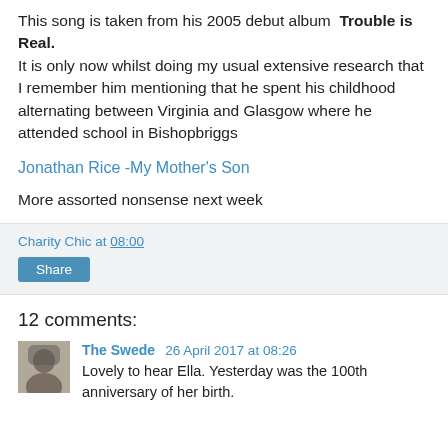This song is taken from his 2005 debut album  Trouble is Real.
It is only now whilst doing my usual extensive research that I remember him mentioning that he spent his childhood alternating between Virginia and Glasgow where he attended school in Bishopbriggs
Jonathan Rice -My Mother's Son
More assorted nonsense next week
Charity Chic at 08:00
Share
12 comments:
The Swede 26 April 2017 at 08:26
Lovely to hear Ella. Yesterday was the 100th anniversary of her birth.